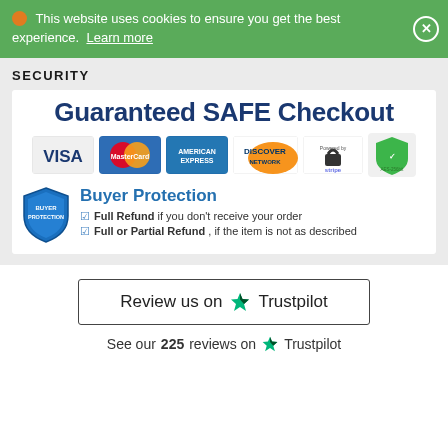🍪 This website uses cookies to ensure you get the best experience. Learn more
SECURITY
[Figure (infographic): Guaranteed SAFE Checkout banner with payment logos: Visa, MasterCard, American Express, Discover Network, Stripe secure site, AES-256 bit security badge. Below: Buyer Protection shield icon with text: Full Refund if you don't receive your order; Full or Partial Refund, if the item is not as described]
[Figure (infographic): Review us on Trustpilot button with green star]
See our 225 reviews on ★ Trustpilot